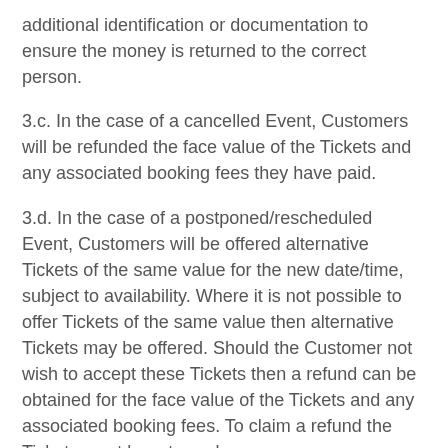additional identification or documentation to ensure the money is returned to the correct person.
3.c. In the case of a cancelled Event, Customers will be refunded the face value of the Tickets and any associated booking fees they have paid.
3.d. In the case of a postponed/rescheduled Event, Customers will be offered alternative Tickets of the same value for the new date/time, subject to availability. Where it is not possible to offer Tickets of the same value then alternative Tickets may be offered. Should the Customer not wish to accept these Tickets then a refund can be obtained for the face value of the Tickets and any associated booking fees. To claim a refund the Tickets must be returned